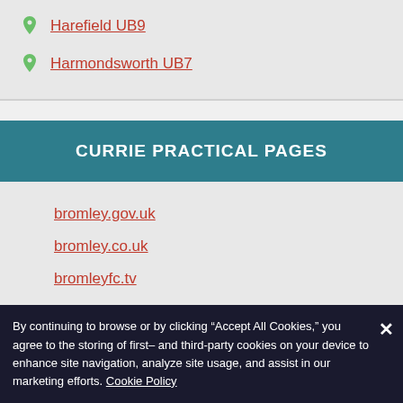Harefield UB9
Harmondsworth UB7
CURRIE PRACTICAL PAGES
bromley.gov.uk
bromley.co.uk
bromleyfc.tv
By continuing to browse or by clicking “Accept All Cookies,” you agree to the storing of first- and third-party cookies on your device to enhance site navigation, analyze site usage, and assist in our marketing efforts. Cookie Policy